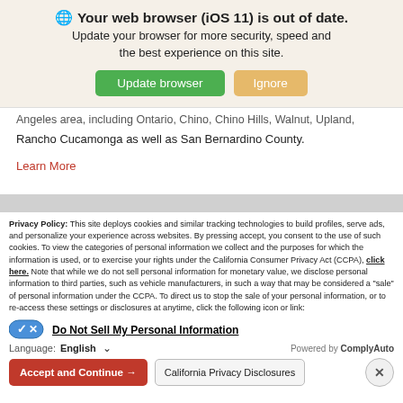🌐 Your web browser (iOS 11) is out of date. Update your browser for more security, speed and the best experience on this site.
Angeles area, including Ontario, Chino, Chino Hills, Walnut, Upland, Rancho Cucamonga as well as San Bernardino County.
Learn More
Privacy Policy: This site deploys cookies and similar tracking technologies to build profiles, serve ads, and personalize your experience across websites. By pressing accept, you consent to the use of such cookies. To view the categories of personal information we collect and the purposes for which the information is used, or to exercise your rights under the California Consumer Privacy Act (CCPA), click here. Note that while we do not sell personal information for monetary value, we disclose personal information to third parties, such as vehicle manufacturers, in such a way that may be considered a "sale" of personal information under the CCPA. To direct us to stop the sale of your personal information, or to re-access these settings or disclosures at anytime, click the following icon or link:
Do Not Sell My Personal Information
Language: English
Powered by ComplyAuto
Accept and Continue →
California Privacy Disclosures